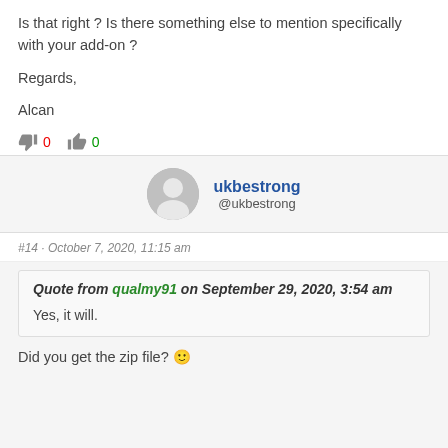Is that right ? Is there something else to mention specifically with your add-on ?
Regards,
Alcan
👎 0   👍 0
ukbestrong @ukbestrong
#14 · October 7, 2020, 11:15 am
Quote from qualmy91 on September 29, 2020, 3:54 am
Yes, it will.
Did you get the zip file? 🙂